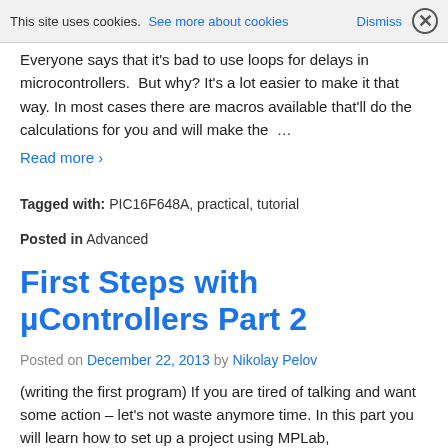This site uses cookies. See more about cookies  Dismiss ×
Everyone says that it's bad to use loops for delays in microcontrollers.  But why? It's a lot easier to make it that way. In most cases there are macros available that'll do the calculations for you and will make the  …
Read more ›
Tagged with: PIC16F648A, practical, tutorial
Posted in Advanced
First Steps with µControllers Part 2
Posted on December 22, 2013 by Nikolay Pelov
(writing the first program) If you are tired of talking and want some action – let's not waste anymore time. In this part you will learn how to set up a project using MPLab,